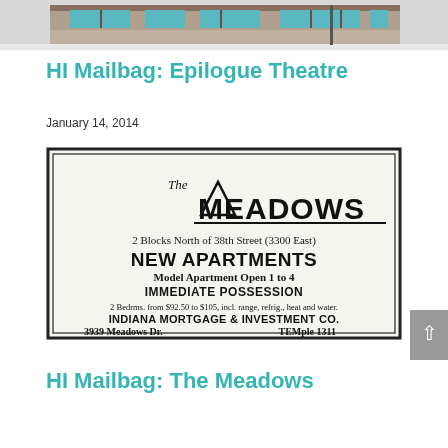[Figure (photo): Top portion of a building exterior photograph, showing a facade with teal/green glass windows and snow on the ground.]
HI Mailbag: Epilogue Theatre
January 14, 2014
[Figure (photo): Vintage newspaper advertisement for 'The Meadows' apartments. Text reads: 2 Blocks North of 38th Street (3300 East). NEW APARTMENTS. Model Apartment Open 1 to 4. IMMEDIATE POSSESSION. 2 Bedrms. from $92.50 to $105, incl. range, refrig., heat and water. INDIANA MORTGAGE & INVESTMENT CO. 3939 Meadows Dr. TEMple 1311]
HI Mailbag: The Meadows